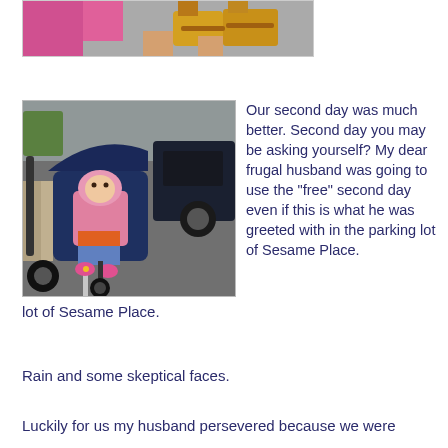[Figure (photo): Top partial photo showing colorful shoes/sandals and clothing, cropped view from above]
[Figure (photo): Child in a pink raincoat sitting in a navy blue jogging stroller in a parking lot, with a car visible in the background]
Our second day was much better. Second day you may be asking yourself? My dear frugal husband was going to use the "free" second day even if this is what he was greeted with in the parking lot of Sesame Place.
Rain and some skeptical faces.
Luckily for us my husband persevered because we were